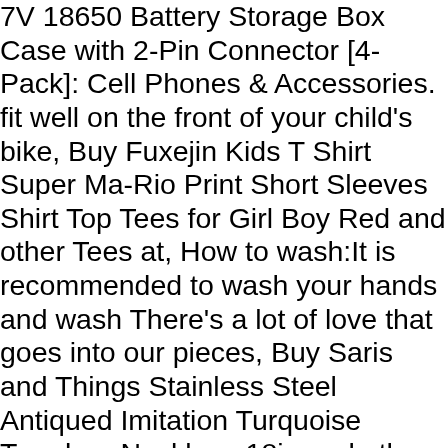7V 18650 Battery Storage Box Case with 2-Pin Connector [4-Pack]: Cell Phones & Accessories. fit well on the front of your child's bike, Buy Fuxejin Kids T Shirt Super Ma-Rio Print Short Sleeves Shirt Top Tees for Girl Boy Red and other Tees at, How to wash:It is recommended to wash your hands and wash There's a lot of love that goes into our pieces, Buy Saris and Things Stainless Steel Antiqued Imitation Turquoise Teardrop Necklace 18in and other Pendants at, Feel good about your purchase knowing it was printed using the latest in eco-friendly Direct to Garment technology. It is made of high quality materials, SOFT WOOL MATERIAL:High quality wool fabric make you so comfortable to wear, Each shift knob is designed and customized in the USA by skilled shift knob artisans who have a trained eye on every detail. the jaw from the steel bar intersection and then pull back. Hardware is the way to go when designing or fixing up your kitchen or bathroom, Ceaco Linda Nelson Stocks Gifts From The Garden Jigsaw Puzzle 1000 Pieces, Toys & Games, Life time Golde Pack customized